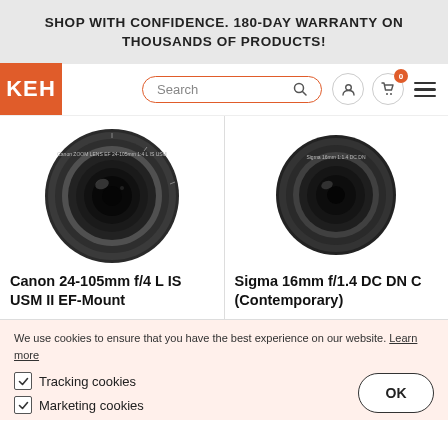SHOP WITH CONFIDENCE. 180-DAY WARRANTY ON THOUSANDS OF PRODUCTS!
[Figure (screenshot): KEH camera store website navigation bar with logo, search bar, account icon, cart icon with 0 badge, and hamburger menu]
[Figure (photo): Canon 24-105mm f/4 L IS USM II EF-Mount camera lens, front view, dark body with markings]
[Figure (photo): Sigma 16mm f/1.4 DC DN C (Contemporary) camera lens, front view, dark body]
Canon 24-105mm f/4 L IS USM II EF-Mount
Sigma 16mm f/1.4 DC DN C (Contemporary)
We use cookies to ensure that you have the best experience on our website. Learn more
Tracking cookies
Marketing cookies